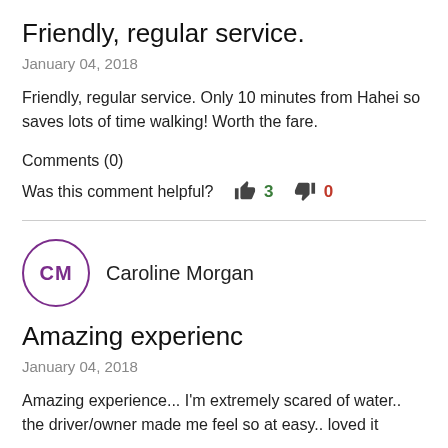Friendly, regular service.
January 04, 2018
Friendly, regular service. Only 10 minutes from Hahei so saves lots of time walking! Worth the fare.
Comments (0)
Was this comment helpful?  3  0
CM  Caroline Morgan
Amazing experienc
January 04, 2018
Amazing experience... I'm extremely scared of water.. the driver/owner made me feel so at easy.. loved it